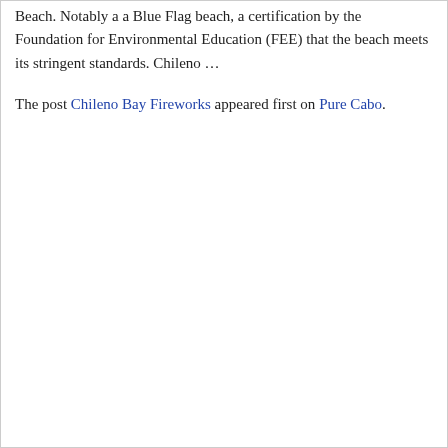Beach. Notably a a Blue Flag beach, a certification by the Foundation for Environmental Education (FEE) that the beach meets its stringent standards. Chileno …
The post Chileno Bay Fireworks appeared first on Pure Cabo.